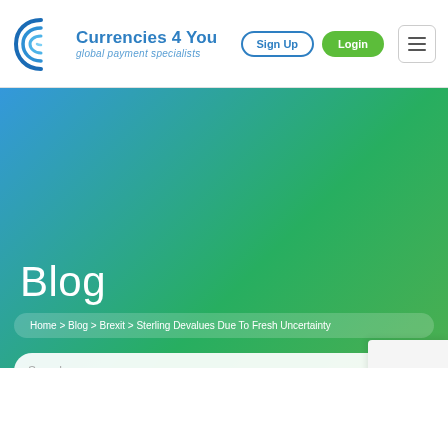Currencies 4 You — global payment specialists | Sign Up | Login
Blog
Home > Blog > Brexit > Sterling Devalues Due To Fresh Uncertainty
Search...
Sterling Devalues Due To Fresh